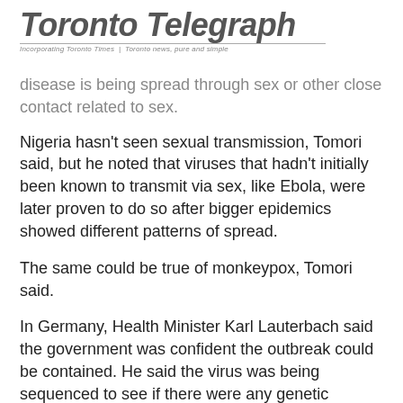Toronto Telegraph
Incorporating Toronto Times | Toronto news, pure and simple
disease is being spread through sex or other close contact related to sex.
Nigeria hasn't seen sexual transmission, Tomori said, but he noted that viruses that hadn't initially been known to transmit via sex, like Ebola, were later proven to do so after bigger epidemics showed different patterns of spread.
The same could be true of monkeypox, Tomori said.
In Germany, Health Minister Karl Lauterbach said the government was confident the outbreak could be contained. He said the virus was being sequenced to see if there were any genetic changes that might have made it more infectious.
Rolf Gustafson, an infectious diseases professor